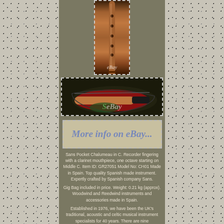[Figure (photo): Wooden pocket chalumeau instrument photographed vertically against white dashed-border background with eBay watermark]
[Figure (photo): Gig bag (black and red) with wooden chalumeau instrument inside, photographed horizontally with eBay watermark]
[Figure (other): eBay 'More info on eBay...' banner button with dashed border]
Sans Pocket Chalumeau in C. Recorder fingering with a clarinet mouthpiece, one octave starting on Middle C. Item ID: GR27051 Model No: CH01 Made in Spain. Top quality Spanish made instrument. Expertly crafted by Spanish company Sans.
Gig Bag included in price. Weight: 0.21 kg (approx). Woodwind and Reedwind instruments and accessories made in Spain.
Established in 1976, we have been the UK's traditional, acoustic and celtic musical instrument specialists for 40 years. There are nine